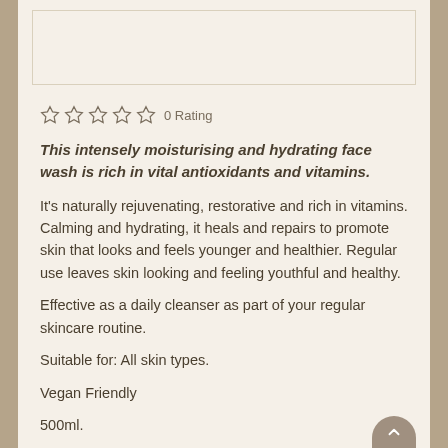[Figure (photo): Product image area (partially visible at top of page, cropped)]
☆ ☆ ☆ ☆ ☆ 0 Rating
This intensely moisturising and hydrating face wash is rich in vital antioxidants and vitamins.
It's naturally rejuvenating, restorative and rich in vitamins. Calming and hydrating, it heals and repairs to promote skin that looks and feels younger and healthier. Regular use leaves skin looking and feeling youthful and healthy.
Effective as a daily cleanser as part of your regular skincare routine.
Suitable for: All skin types.
Vegan Friendly
500ml.